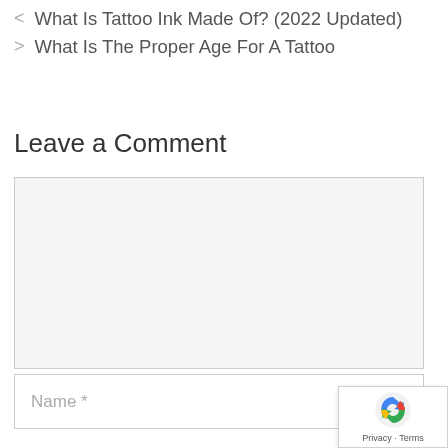< What Is Tattoo Ink Made Of? (2022 Updated)
> What Is The Proper Age For A Tattoo
Leave a Comment
[Comment text area - empty]
Name *